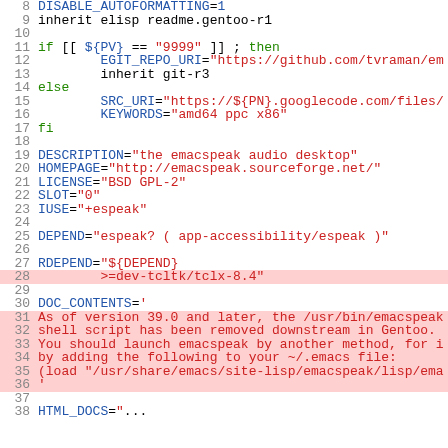[Figure (screenshot): Source code listing of a Gentoo ebuild file showing lines 8-37 with syntax highlighting. Variables in blue, string values in red/orange, keywords like if/else/fi/then in green, and some lines with red background highlight.]